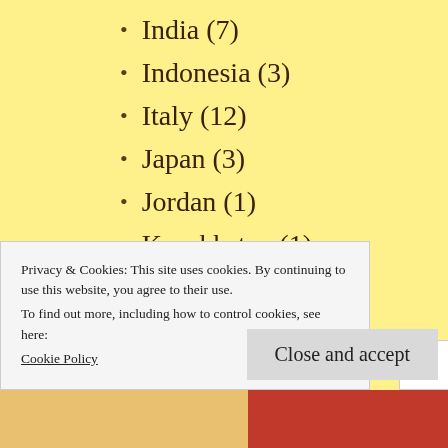India (7)
Indonesia (3)
Italy (12)
Japan (3)
Jordan (1)
Kazakhstan (1)
Kenya (3)
Korea (5)
Kyrgystan (1)
Laos (1)
Latvia (1)
Privacy & Cookies: This site uses cookies. By continuing to use this website, you agree to their use.
To find out more, including how to control cookies, see here:
Cookie Policy
Close and accept